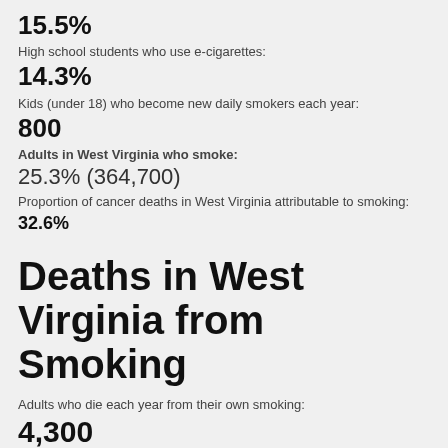15.5%
High school students who use e-cigarettes:
14.3%
Kids (under 18) who become new daily smokers each year:
800
Adults in West Virginia who smoke:
25.3% (364,700)
Proportion of cancer deaths in West Virginia attributable to smoking: 32.6%
Deaths in West Virginia from Smoking
Adults who die each year from their own smoking:
4,300
Kids now under 18 and alive in West Virginia who will ultimately die prematurely from smoking:
47,000
Smoking kills more people than alcohol, AIDS, car crashes